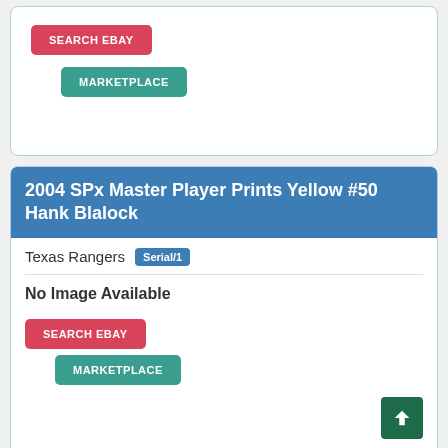[Figure (screenshot): Top portion of a trading card listing page showing SEARCH EBAY and MARKETPLACE buttons]
2004 SPx Master Player Prints Yellow #50 Hank Blalock
Texas Rangers Serial/1
No Image Available
[Figure (screenshot): SEARCH EBAY and MARKETPLACE buttons for second card listing]